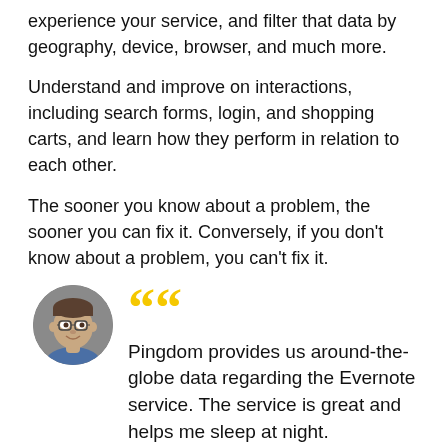experience your service, and filter that data by geography, device, browser, and much more.
Understand and improve on interactions, including search forms, login, and shopping carts, and learn how they perform in relation to each other.
The sooner you know about a problem, the sooner you can fix it. Conversely, if you don't know about a problem, you can't fix it.
[Figure (photo): Circular portrait photo of Alexei Rodriguez, a man wearing glasses, smiling, in a blue shirt.]
Pingdom provides us around-the-globe data regarding the Evernote service. The service is great and helps me sleep at night.
— Alexei Rodriguez, VP of Operations, Evernote